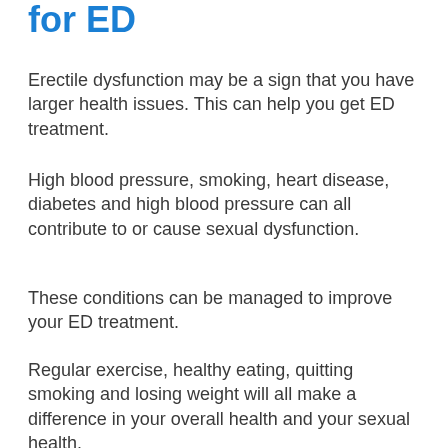for ED
Erectile dysfunction may be a sign that you have larger health issues. This can help you get ED treatment.
High blood pressure, smoking, heart disease, diabetes and high blood pressure can all contribute to or cause sexual dysfunction.
These conditions can be managed to improve your ED treatment.
Regular exercise, healthy eating, quitting smoking and losing weight will all make a difference in your overall health and your sexual health.
Talk to a healthcare provider